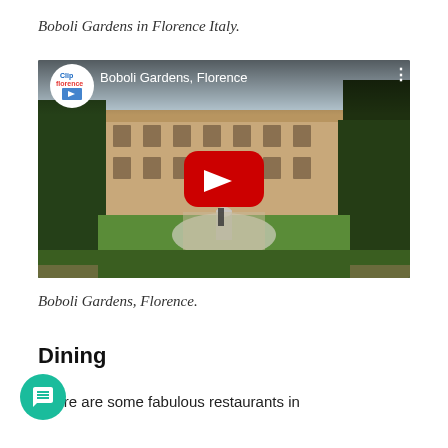Boboli Gardens in Florence Italy.
[Figure (screenshot): YouTube video thumbnail showing Boboli Gardens in Florence with channel logo 'Clip Florence' and title 'Boboli Gardens, Florence', featuring a red YouTube play button in the center. The scene shows lush green hedges, a Renaissance building, and a fountain in a formal garden.]
Boboli Gardens, Florence.
Dining
There are some fabulous restaurants in